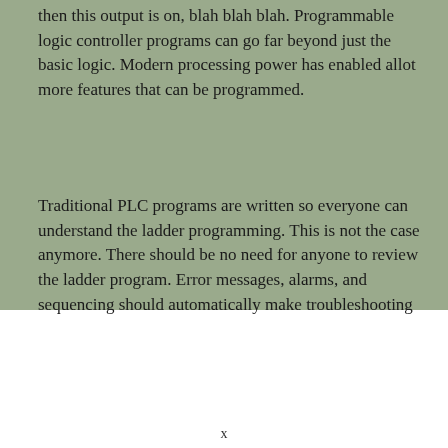then this output is on, blah blah blah. Programmable logic controller programs can go far beyond just the basic logic. Modern processing power has enabled allot more features that can be programmed.
Traditional PLC programs are written so everyone can understand the ladder programming. This is not the case anymore. There should be no need for anyone to review the ladder program. Error messages, alarms, and sequencing should automatically make troubleshooting
x